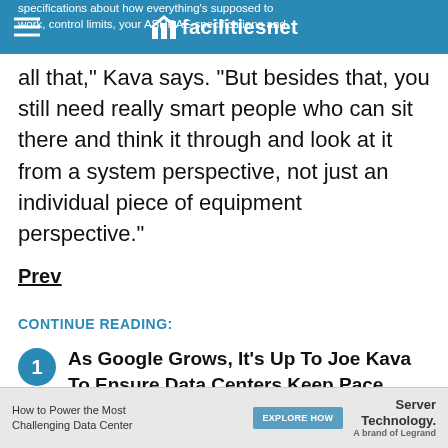specifications about how everything's supposed to work, control limits, your ASHRAE specifications and
all that," Kava says. "But besides that, you still need really smart people who can sit there and think it through and look at it from a system perspective, not just an individual piece of equipment perspective."
Prev
CONTINUE READING:
1 As Google Grows, It's Up To Joe Kava To Ensure Data Centers Keep Pace
2 To Keep Up With Demand For Data Centers,
How to Power the Most Challenging Data Center   EXPLORE HOW   Server Technology.